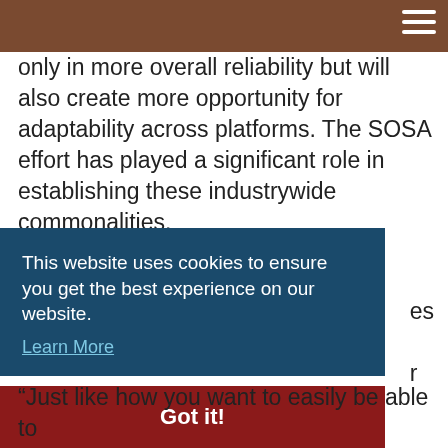only in more overall reliability but will also create more opportunity for adaptability across platforms. The SOSA effort has played a significant role in establishing these industrywide commonalities.
The influence of SOSA on signal processing
es
r
This website uses cookies to ensure you get the best experience on our website. Learn More
Got it!
“Just like how you want to easily be able to